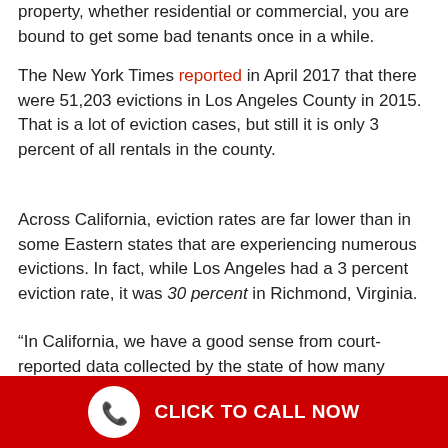property, whether residential or commercial, you are bound to get some bad tenants once in a while.
The New York Times reported in April 2017 that there were 51,203 evictions in Los Angeles County in 2015. That is a lot of eviction cases, but still it is only 3 percent of all rentals in the county.
Across California, eviction rates are far lower than in some Eastern states that are experiencing numerous evictions. In fact, while Los Angeles had a 3 percent eviction rate, it was 30 percent in Richmond, Virginia.
“In California, we have a good sense from court-reported data collected by the state of how many cases are filed each year,” The Times reports. “But [eviction expert Matthew Desmond can’t say what share result in legal judgments because of another protection California
CLICK TO CALL NOW